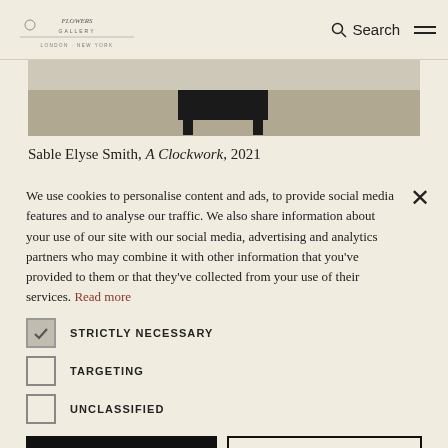Logo | Search | Menu
[Figure (photo): Partial view of an artwork installation, dark object on light floor, cropped at top]
Sable Elyse Smith, A Clockwork, 2021
We use cookies to personalise content and ads, to provide social media features and to analyse our traffic. We also share information about your use of our site with our social media, advertising and analytics partners who may combine it with other information that you've provided to them or that they've collected from your use of their services. Read more
STRICTLY NECESSARY
TARGETING
UNCLASSIFIED
ACCEPT ALL
DECLINE ALL
SHOW DETAILS